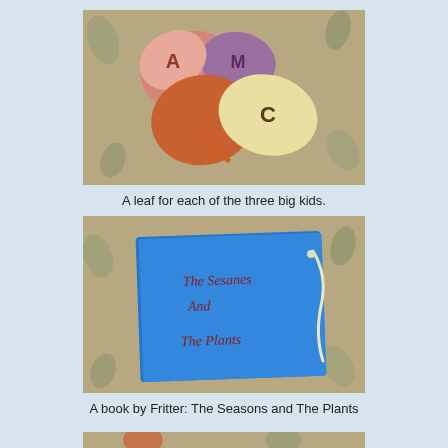[Figure (photo): Photo of colorful paper leaf cutouts with letters on them arranged on a floral fabric background. Leaves in pink, purple, orange, and yellow/cream colors with letters A, M, C visible.]
A leaf for each of the three big kids.
[Figure (photo): Photo of a blue paper book cover with handwritten text reading 'The Sesanes And The Plants' on a floral fabric background. The book has a white string binding.]
A book by Fritter: The Seasons and The Plants
[Figure (photo): Partial photo at the bottom of the page showing another image on a floral fabric background, partially cropped.]